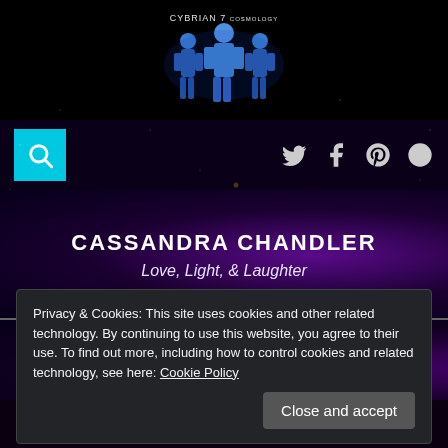[Figure (logo): Cybrian 7 book/series logo with three blue humanoid figures on black background]
[Figure (screenshot): Navigation bar with cyan search button on left and social media icons (Twitter, Facebook, Pinterest, custom) on right]
CASSANDRA CHANDLER
Love, Light, & Laughter
Menu
Privacy & Cookies: This site uses cookies and other related technology. By continuing to use this website, you agree to their use. To find out more, including how to control cookies and related technology, see here: Cookie Policy